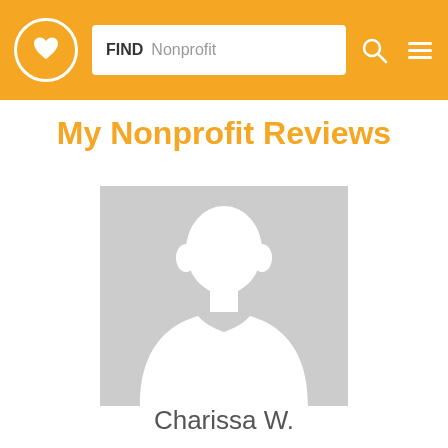FIND Nonprofit
My Nonprofit Reviews
[Figure (illustration): Default user avatar placeholder — grey silhouette of a person (head and shoulders) on a light grey background square]
Charissa W.